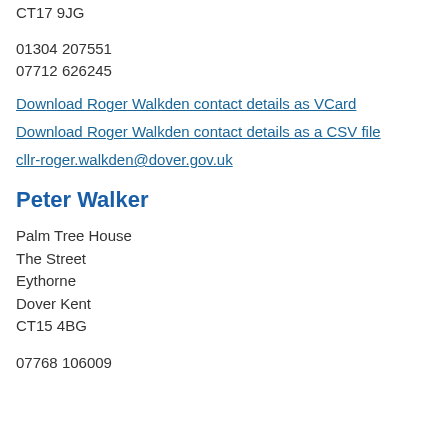CT17 9JG
01304 207551
07712 626245
Download Roger Walkden contact details as VCard
Download Roger Walkden contact details as a CSV file
cllr-roger.walkden@dover.gov.uk
Peter Walker
Palm Tree House
The Street
Eythorne
Dover Kent
CT15 4BG
07768 106009